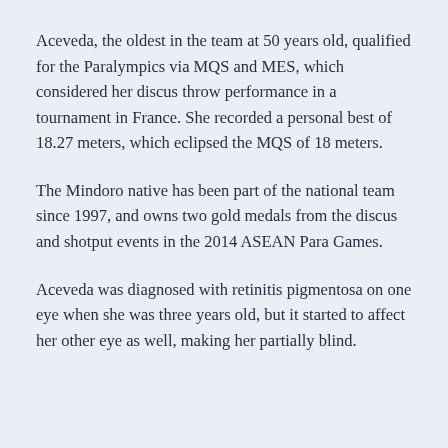Aceveda, the oldest in the team at 50 years old, qualified for the Paralympics via MQS and MES, which considered her discus throw performance in a tournament in France. She recorded a personal best of 18.27 meters, which eclipsed the MQS of 18 meters.
The Mindoro native has been part of the national team since 1997, and owns two gold medals from the discus and shotput events in the 2014 ASEAN Para Games.
Aceveda was diagnosed with retinitis pigmentosa on one eye when she was three years old, but it started to affect her other eye as well, making her partially blind.